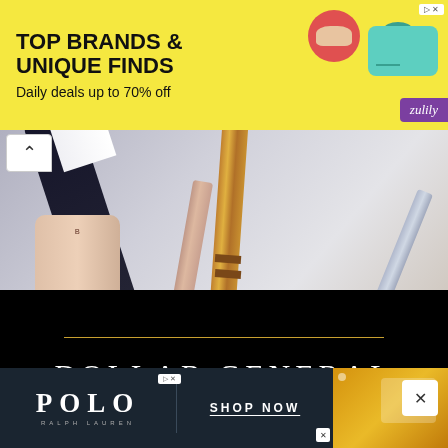[Figure (illustration): Zulily advertisement banner with yellow background. Bold text reads 'TOP BRANDS & UNIQUE FINDS' and 'Daily deals up to 70% off'. Decorative shoe and teal handbag on right. Purple Zulily badge bottom right.]
[Figure (photo): Makeup products photo background: dark eyeliner pencil, gold mascara wand, foundation bottle labeled 'SKIN FINISH FOUNDATION MEDIUM TO FULL COVERAGE', rose gold tube, and blue/gray brush on light grey background.]
[Figure (illustration): Black banner overlay with gold horizontal rule and white serif text reading 'DOLLAR GENERAL MAKEUP' in large uppercase letters on black background.]
[Figure (illustration): Polo Ralph Lauren advertisement. Dark navy background. Left: 'POLO RALPH LAUREN' logo in white. Center: 'SHOP NOW' underlined. Right: yellow/orange lifestyle image with clothing.]